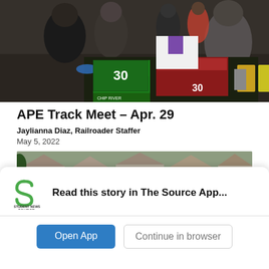[Figure (photo): Indoor scene with students at what appears to be a food/snack table. Boxes of chips and snacks visible with '30' on green packaging. Multiple students standing around the table.]
APE Track Meet – Apr. 29
Jaylianna Diaz, Railroader Staffer
May 5, 2022
[Figure (photo): Outdoor scene with a group of students gathered outside with houses visible in the background.]
Read this story in The Source App...
Open App
Continue in browser